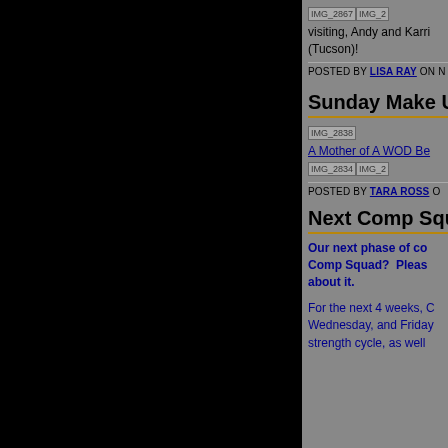[Figure (photo): Two image placeholders: IMG_2867 and IMG_2 (partially visible)]
visiting, Andy and Karri (Tucson)!
POSTED BY LISA RAY ON N
Sunday Make U
[Figure (photo): Image placeholder IMG_2838]
A Mother of A WOD Be
[Figure (photo): Two image placeholders: IMG_2834 and IMG_2 (partially visible)]
POSTED BY TARA ROSS O
Next Comp Squ
Our next phase of co... Comp Squad?  Please about it.
For the next 4 weeks, C Wednesday, and Friday strength cycle, as well